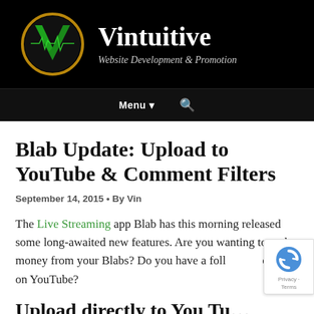[Figure (logo): Vintuitive logo: green V letter with heartbeat line inside a gold circle, on black background, with site name 'Vintuitive' and tagline 'Website Development & Promotion']
Menu ▾  🔍
Blab Update: Upload to YouTube & Comment Filters
September 14, 2015 • By Vin
The Live Streaming app Blab has this morning released some long-awaited new features. Are you wanting to make money from your Blabs? Do you have a following on YouTube?
Upload directly to You Tu…